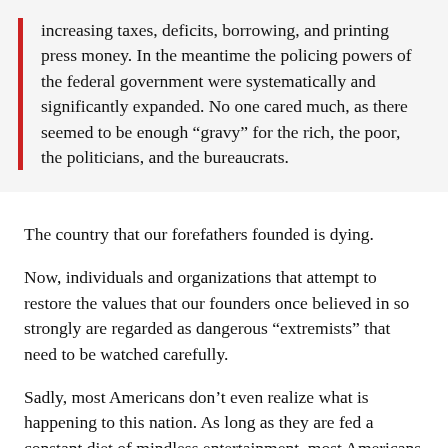increasing taxes, deficits, borrowing, and printing press money. In the meantime the policing powers of the federal government were systematically and significantly expanded. No one cared much, as there seemed to be enough “gravy” for the rich, the poor, the politicians, and the bureaucrats.
The country that our forefathers founded is dying.
Now, individuals and organizations that attempt to restore the values that our founders once believed in so strongly are regarded as dangerous “extremists” that need to be watched carefully.
Sadly, most Americans don’t even realize what is happening to this nation. As long as they are fed a constant diet of mindless entertainment, most Americans are perfectly content to let “the experts” do their thinking for them.